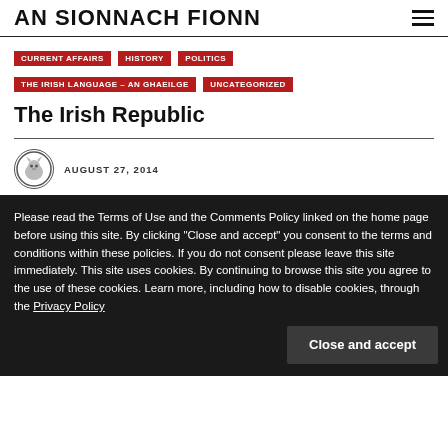AN SIONNACH FIONN
CURRENT AFFAIRS
HISTORY
POLITICS
THE IRISH LANGUAGE – AN GHAEILGE
UNCATEGORIZED
The Irish Republic
AUGUST 27, 2014
[Figure (photo): Black and white archival photograph, partially visible behind the cookie consent banner.]
Please read the Terms of Use and the Comments Policy linked on the home page before using this site. By clicking "Close and accept" you consent to the terms and conditions within these policies. If you do not consent please leave this site immediately. This site uses cookies. By continuing to browse this site you agree to the use of these cookies. Learn more, including how to disable cookies, through the Privacy Policy
Close and accept